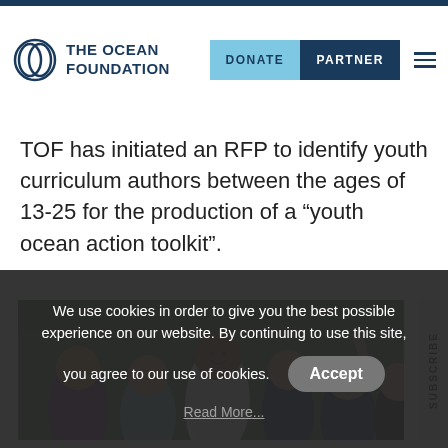The Ocean Foundation | DONATE | PARTNER
TOF has initiated an RFP to identify youth curriculum authors between the ages of 13-25 for the production of a “youth ocean action toolkit”.
[Figure (photo): Group of smiling children raising hands outdoors]
We use cookies in order to give you the best possible experience on our website. By continuing to use this site, you agree to our use of cookies.
Accept
Read More...